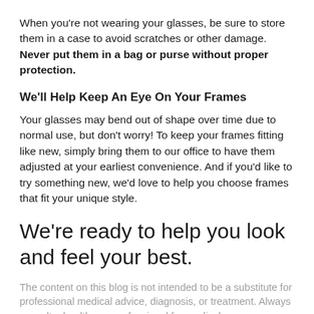When you're not wearing your glasses, be sure to store them in a case to avoid scratches or other damage. Never put them in a bag or purse without proper protection.
We'll Help Keep An Eye On Your Frames
Your glasses may bend out of shape over time due to normal use, but don't worry! To keep your frames fitting like new, simply bring them to our office to have them adjusted at your earliest convenience. And if you'd like to try something new, we'd love to help you choose frames that fit your unique style.
We're ready to help you look and feel your best.
The content on this blog is not intended to be a substitute for professional medical advice, diagnosis, or treatment. Always consult a healthcare professional for medical...